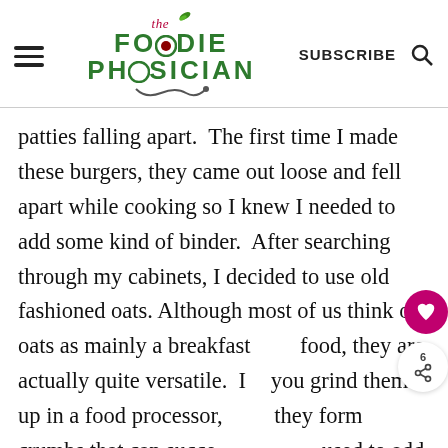The Foodie Physician | SUBSCRIBE
patties falling apart.  The first time I made these burgers, they came out loose and fell apart while cooking so I knew I needed to add some kind of binder.  After searching through my cabinets, I decided to use old fashioned oats. Although most of us think of oats as mainly a breakfast food, they are actually quite versatile.  If you grind them up in a food processor, they form crumbs that can successfully be used to add fiber and bulk to meatloaf, meatballs and veggie burgers- much more